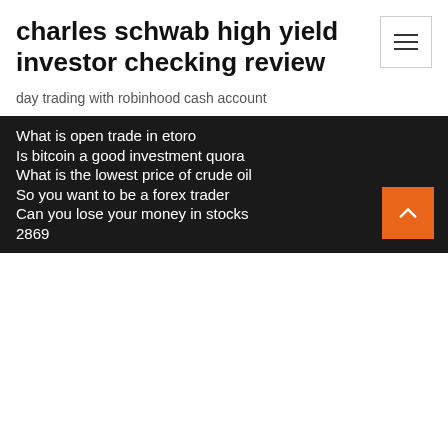charles schwab high yield investor checking review
day trading with robinhood cash account
What is open trade in etoro
Is bitcoin a good investment quora
What is the lowest price of crude oil
So you want to be a forex trader
Can you lose your money in stocks
2869